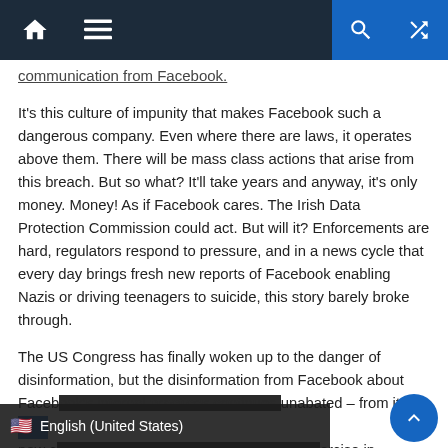Navigation bar with home, menu, search, and shuffle icons
communication from Facebook.
It's this culture of impunity that makes Facebook such a dangerous company. Even where there are laws, it operates above them. There will be mass class actions that arise from this breach. But so what? It'll take years and anyway, it's only money. Money! As if Facebook cares. The Irish Data Protection Commission could act. But will it? Enforcements are hard, regulators respond to pressure, and in a news cycle that every day brings fresh new reports of Facebook enabling Nazis or driving teenagers to suicide, this story barely broke through.
The US Congress has finally woken up to the danger of disinformation, but the disinformation from Facebook about Facebook's internal practices continues unabated – from its s... new c... ercise in evading
English (United States)